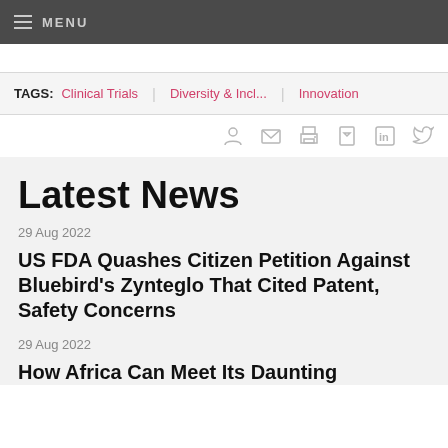MENU
TAGS: Clinical Trials | Diversity & Incl... | Innovation
Latest News
29 Aug 2022
US FDA Quashes Citizen Petition Against Bluebird's Zynteglo That Cited Patent, Safety Concerns
29 Aug 2022
How Africa Can Meet Its Daunting